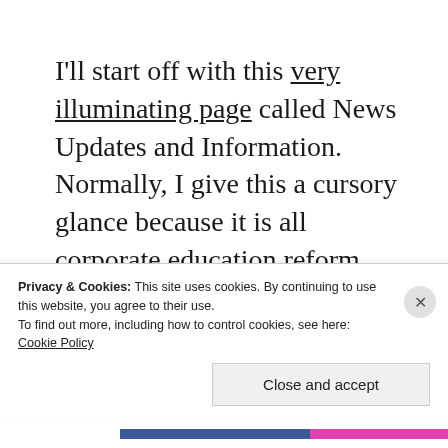I'll start off with this very illuminating page called News Updates and Information.  Normally, I give this a cursory glance because it is all corporate education reform articles that are pretty much the opposite of anything I write on here.  But there were four things on this page that demanded a mention.  There
Privacy & Cookies: This site uses cookies. By continuing to use this website, you agree to their use.
To find out more, including how to control cookies, see here: Cookie Policy
Close and accept